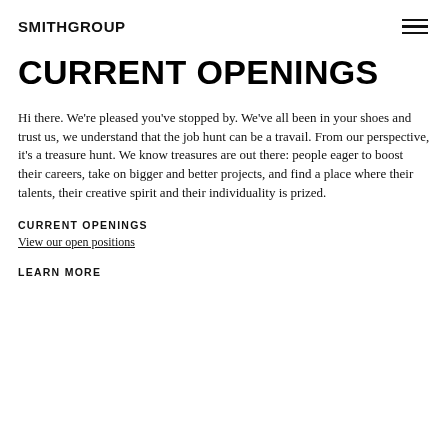SMITHGROUP
CURRENT OPENINGS
Hi there. We're pleased you've stopped by. We've all been in your shoes and trust us, we understand that the job hunt can be a travail. From our perspective, it's a treasure hunt. We know treasures are out there: people eager to boost their careers, take on bigger and better projects, and find a place where their talents, their creative spirit and their individuality is prized.
CURRENT OPENINGS
View our open positions
LEARN MORE